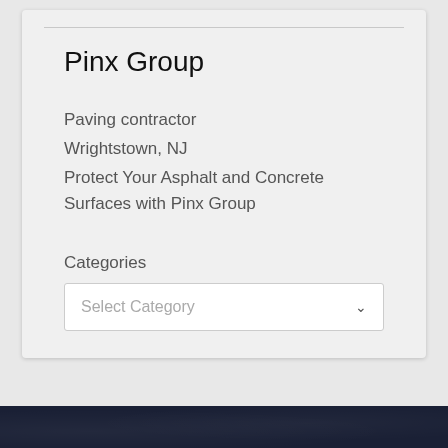Pinx Group
Paving contractor
Wrightstown, NJ
Protect Your Asphalt and Concrete Surfaces with Pinx Group
Categories
Select Category